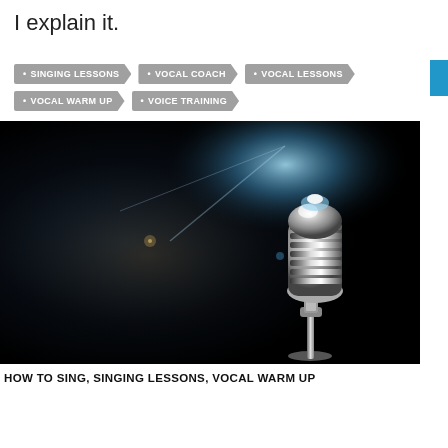I explain it.
• SINGING LESSONS
• VOCAL COACH
• VOCAL LESSONS
• VOCAL WARM UP
• VOICE TRAINING
[Figure (photo): Vintage chrome microphone on dark background with blue light flare]
HOW TO SING, SINGING LESSONS, VOCAL WARM UP